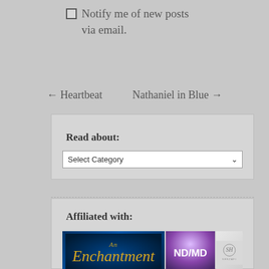☐ Notify me of new posts via email.
← Heartbeat
Nathaniel in Blue →
Read about:
Select Category
Affiliated with:
[Figure (logo): Three affiliate logos: Enchantment (dark blue background with gold italic script), ND/MD (purple gradient with white bold text), and SENZAFI (grey with circular monogram)]